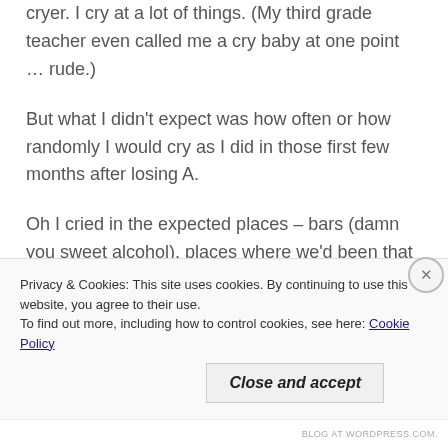cryer. I cry at a lot of things. (My third grade teacher even called me a cry baby at one point … rude.)
But what I didn't expect was how often or how randomly I would cry as I did in those first few months after losing A.
Oh I cried in the expected places – bars (damn you sweet alcohol), places where we'd been that were romantic to me, the privacy of my home when I'd remember moments that seemed so special. But it
Privacy & Cookies: This site uses cookies. By continuing to use this website, you agree to their use.
To find out more, including how to control cookies, see here: Cookie Policy
Close and accept
BLOG AT WORDPRESS.COM.